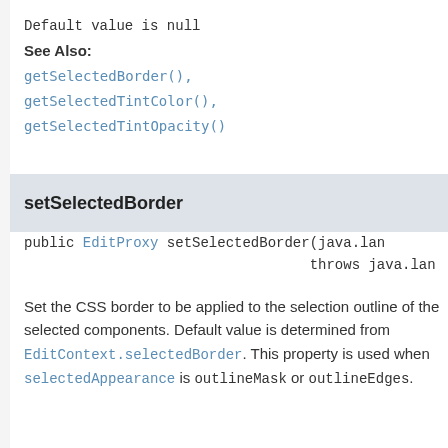Default value is null
See Also:
getSelectedBorder(), getSelectedTintColor(), getSelectedTintOpacity()
setSelectedBorder
public EditProxy setSelectedBorder(java.lan throws java.lan
Set the CSS border to be applied to the selection outline of the selected components. Default value is determined from EditContext.selectedBorder. This property is used when selectedAppearance is outlineMask or outlineEdges.